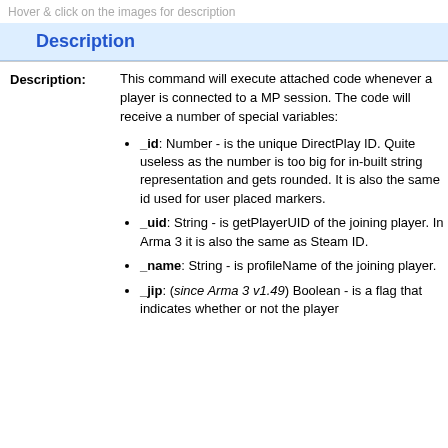Hover & click on the images for description
Description
This command will execute attached code whenever a player is connected to a MP session. The code will receive a number of special variables:
_id: Number - is the unique DirectPlay ID. Quite useless as the number is too big for in-built string representation and gets rounded. It is also the same id used for user placed markers.
_uid: String - is getPlayerUID of the joining player. In Arma 3 it is also the same as Steam ID.
_name: String - is profileName of the joining player.
_jip: (since Arma 3 v1.49) Boolean - is a flag that indicates whether or not the player